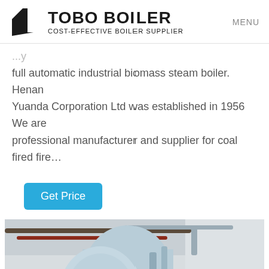TOBO BOILER — COST-EFFECTIVE BOILER SUPPLIER | MENU
full automatic industrial biomass steam boiler. Henan Yuanda Corporation Ltd was established in 1956 We are professional manufacturer and supplier for coal fired fire…
Get Price
[Figure (photo): Industrial boiler room with large cylindrical light-blue boilers and pipe systems visible overhead and to the sides.]